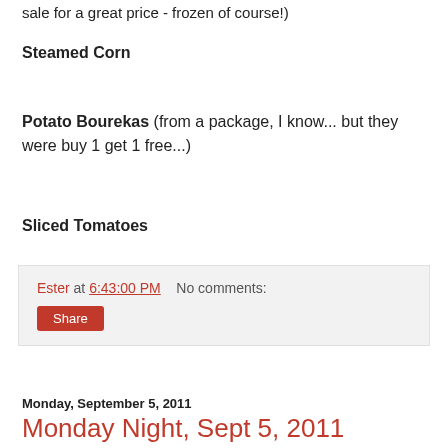sale for a great price - frozen of course!)
Steamed Corn
Potato Bourekas (from a package, I know... but they were buy 1 get 1 free...)
Sliced Tomatoes
Ester at 6:43:00 PM   No comments:
Share
Monday, September 5, 2011
Monday Night, Sept 5, 2011
For some of you it's a holiday weekend, and chances are high you're not so interested in my run of the mill menus today, you're probably eating BBQ with a whole bunch of family and friends...